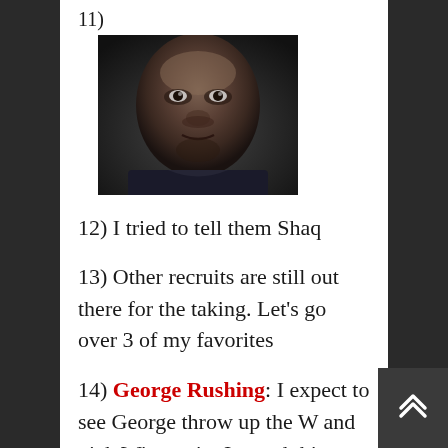11)
[Figure (photo): Close-up photo of a man's face looking upward, cropped tightly]
12) I tried to tell them Shaq
13) Other recruits are still out there for the taking. Let’s go over 3 of my favorites
14) George Rushing: I expect to see George throw up the W and pick Wisconsin. I stated this morning I thought he was a Lock to pick UW. He